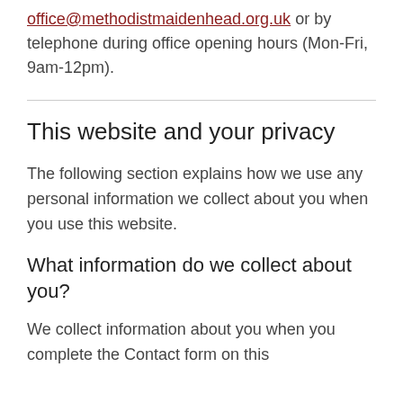office@methodistmaidenhead.org.uk or by telephone during office opening hours (Mon-Fri, 9am-12pm).
This website and your privacy
The following section explains how we use any personal information we collect about you when you use this website.
What information do we collect about you?
We collect information about you when you complete the Contact form on this